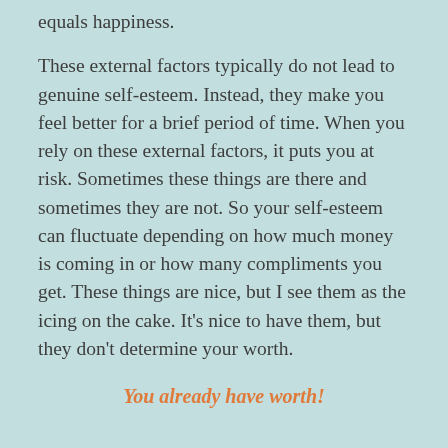equals happiness.
These external factors typically do not lead to genuine self-esteem. Instead, they make you feel better for a brief period of time. When you rely on these external factors, it puts you at risk. Sometimes these things are there and sometimes they are not. So your self-esteem can fluctuate depending on how much money is coming in or how many compliments you get. These things are nice, but I see them as the icing on the cake. It’s nice to have them, but they don’t determine your worth.
You already have worth!